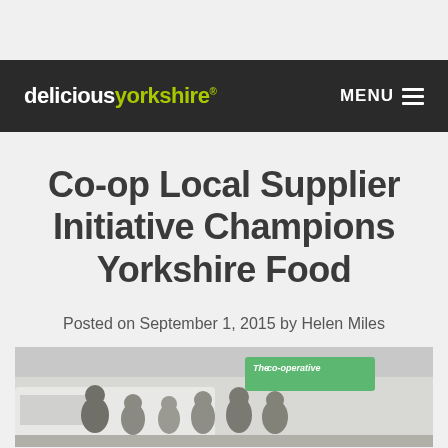deliciouslyorkshire® MENU
Co-op Local Supplier Initiative Champions Yorkshire Food
Posted on September 1, 2015 by Helen Miles
[Figure (photo): Group of people standing outside a The co-operative store front, posed for a photo in front of a white vehicle and green Co-op signage.]